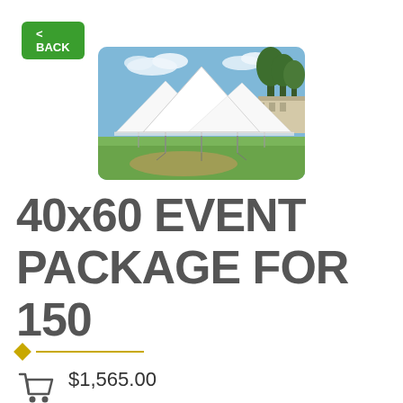< BACK
[Figure (photo): A large white pole tent set up on a grassy outdoor area, with trees and a building visible in the background. The tent has multiple peaks and is secured with poles along the perimeter.]
40x60 EVENT PACKAGE FOR 150
$1,565.00